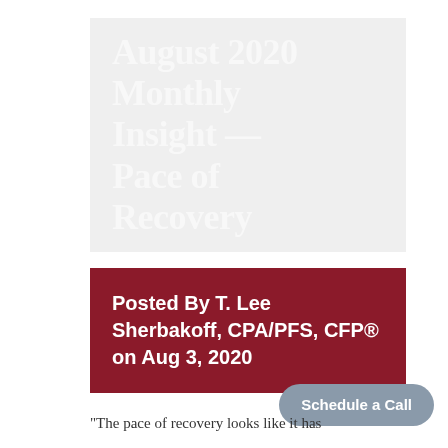[Figure (illustration): Light gray hero image box with large white semi-transparent bold serif text reading 'August 2020 Monthly Insight — Pace of Recovery']
Posted By T. Lee Sherbakoff, CPA/PFS, CFP® on Aug 3, 2020
"The pace of recovery looks like it has